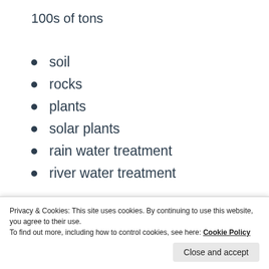100s of tons
soil
rocks
plants
solar plants
rain water treatment
river water treatment
Advertisements
[Figure (other): Dark advertisement banner with text 'Opinions.' and circular icons on the right]
Privacy & Cookies: This site uses cookies. By continuing to use this website, you agree to their use.
To find out more, including how to control cookies, see here: Cookie Policy
Close and accept